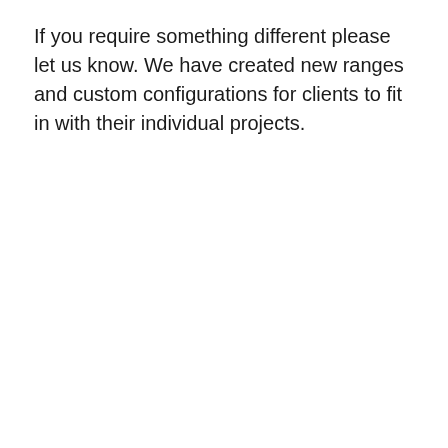If you require something different please let us know. We have created new ranges and custom configurations for clients to fit in with their individual projects.